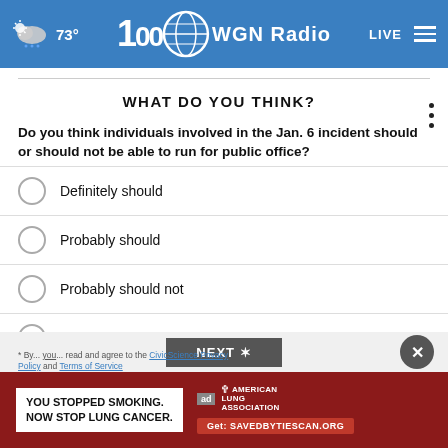73° WGN Radio 100 LIVE
WHAT DO YOU THINK?
Do you think individuals involved in the Jan. 6 incident should or should not be able to run for public office?
Definitely should
Probably should
Probably should not
Definitely should not
Other / No opinion
[Figure (screenshot): Advertisement banner: YOU STOPPED SMOKING. NOW STOP LUNG CANCER. American Lung Association, Get: SAVEDBYTIESCAN.ORG]
* By... read and agree to the CivicScience Privacy Policy and Terms of Service